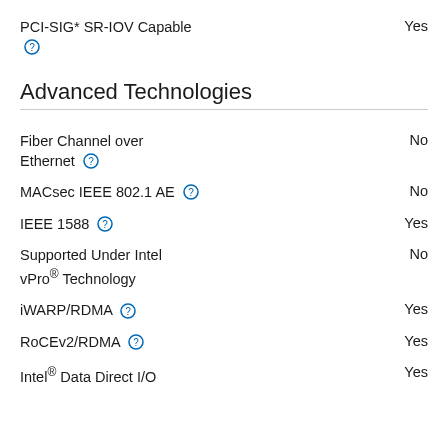PCI-SIG* SR-IOV Capable — Yes
Advanced Technologies
Fiber Channel over Ethernet — No
MACsec IEEE 802.1 AE — No
IEEE 1588 — Yes
Supported Under Intel vPro® Technology — No
iWARP/RDMA — Yes
RoCEv2/RDMA — Yes
Intel® Data Direct I/O — Yes